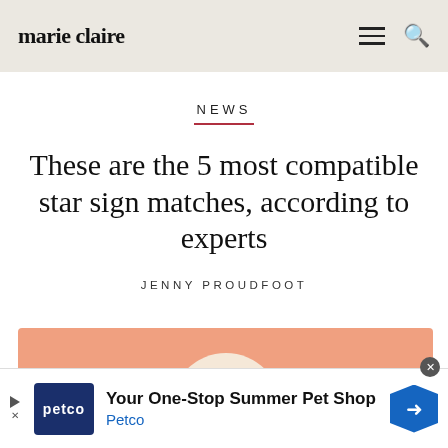marie claire
NEWS
These are the 5 most compatible star sign matches, according to experts
JENNY PROUDFOOT
[Figure (illustration): Partially visible hero image with peach/salmon background and a cream-colored semicircle shape at the bottom center]
[Figure (infographic): Petco advertisement banner: navy Petco logo box, text 'Your One-Stop Summer Pet Shop' with 'Petco' in blue below, blue diamond arrow icon on the right]